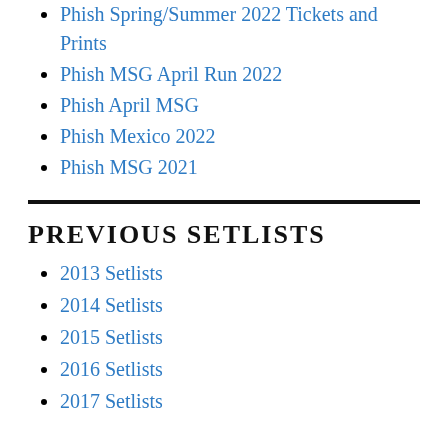Phish Spring/Summer 2022 Tickets and Prints
Phish MSG April Run 2022
Phish April MSG
Phish Mexico 2022
Phish MSG 2021
PREVIOUS SETLISTS
2013 Setlists
2014 Setlists
2015 Setlists
2016 Setlists
2017 Setlists